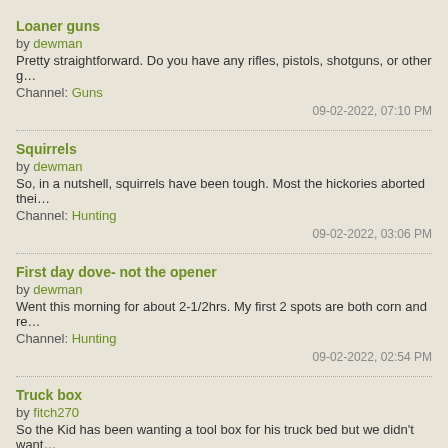Loaner guns
by dewman
Pretty straightforward. Do you have any rifles, pistols, shotguns, or other g…
Channel: Guns
09-02-2022, 07:10 PM
Squirrels
by dewman
So, in a nutshell, squirrels have been tough. Most the hickories aborted thei…
Channel: Hunting
09-02-2022, 03:06 PM
First day dove- not the opener
by dewman
Went this morning for about 2-1/2hrs. My first 2 spots are both corn and re…
Channel: Hunting
09-02-2022, 02:54 PM
Truck box
by fitch270
So the Kid has been wanting a tool box for his truck bed but we didn't want…
Channel: Gear
08-22-2022, 10:18 PM
Birthday